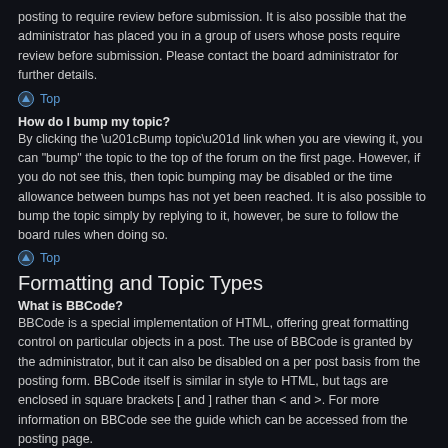posting to require review before submission. It is also possible that the administrator has placed you in a group of users whose posts require review before submission. Please contact the board administrator for further details.
⌃ Top
How do I bump my topic?
By clicking the “Bump topic” link when you are viewing it, you can "bump" the topic to the top of the forum on the first page. However, if you do not see this, then topic bumping may be disabled or the time allowance between bumps has not yet been reached. It is also possible to bump the topic simply by replying to it, however, be sure to follow the board rules when doing so.
⌃ Top
Formatting and Topic Types
What is BBCode?
BBCode is a special implementation of HTML, offering great formatting control on particular objects in a post. The use of BBCode is granted by the administrator, but it can also be disabled on a per post basis from the posting form. BBCode itself is similar in style to HTML, but tags are enclosed in square brackets [ and ] rather than < and >. For more information on BBCode see the guide which can be accessed from the posting page.
⌃ Top